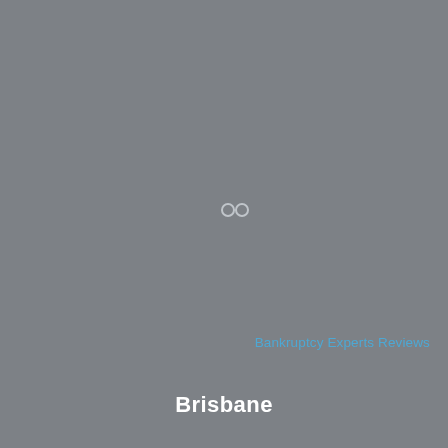[Figure (logo): Small loading or infinity-like icon in light gray near center of page]
Bankruptcy Experts Reviews
Brisbane